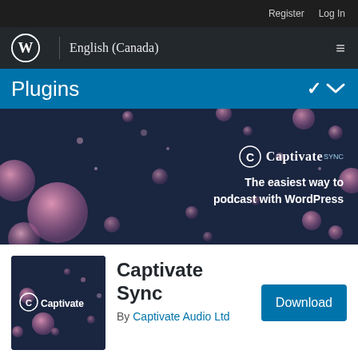Register  Log In
[Figure (logo): WordPress logo with English (Canada) text and hamburger menu on dark background]
Plugins
[Figure (screenshot): Captivate Sync plugin banner — dark navy background with pink floating bubbles/orbs, Captivate Sync logo and tagline: The easiest way to podcast with WordPress]
[Figure (logo): Captivate plugin icon — dark navy background with Captivate logo and small floating dots]
Captivate Sync
By Captivate Audio Ltd